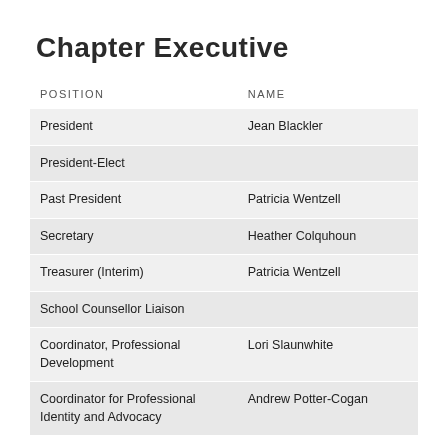Chapter Executive
| POSITION | NAME |
| --- | --- |
| President | Jean Blackler |
| President-Elect |  |
| Past President | Patricia Wentzell |
| Secretary | Heather Colquhoun |
| Treasurer (Interim) | Patricia Wentzell |
| School Counsellor Liaison |  |
| Coordinator, Professional Development | Lori Slaunwhite |
| Coordinator for Professional Identity and Advocacy | Andrew Potter-Cogan |